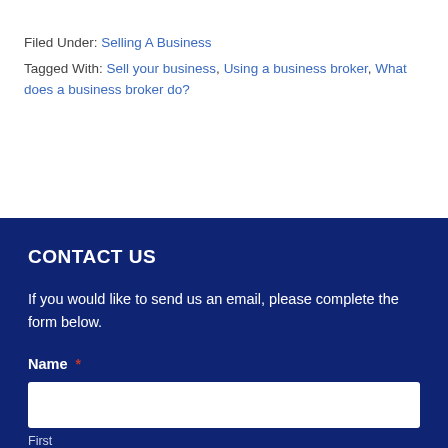Filed Under: Selling A Business
Tagged With: Sell your business, Using a business broker, What does a business broker do?
CONTACT US
If you would like to send us an email, please complete the form below.
Name *
First